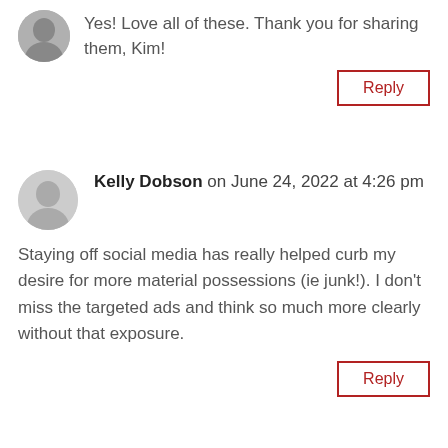[Figure (photo): Small circular avatar photo of a person at top left]
Yes! Love all of these. Thank you for sharing them, Kim!
Reply
[Figure (illustration): Generic gray silhouette avatar for Kelly Dobson]
Kelly Dobson on June 24, 2022 at 4:26 pm
Staying off social media has really helped curb my desire for more material possessions (ie junk!). I don't miss the targeted ads and think so much more clearly without that exposure.
Reply